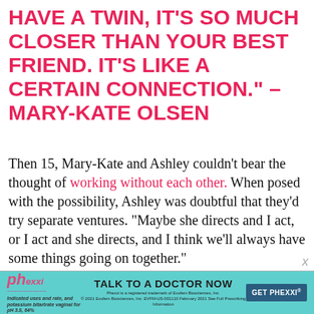HAVE A TWIN, IT'S SO MUCH CLOSER THAN YOUR BEST FRIEND. IT'S LIKE A CERTAIN CONNECTION." – MARY-KATE OLSEN
Then 15, Mary-Kate and Ashley couldn't bear the thought of working without each other. When posed with the possibility, Ashley was doubtful that they'd try separate ventures. "Maybe she directs and I act, or I act and she directs, and I think we'll always have some things going on together."
[Figure (infographic): Advertisement banner for Phexxi contraceptive. Teal background with Phexxi logo on left, text 'TALK TO A DOCTOR NOW' in center, and 'GET PHEXXI' button on right. Includes small disclaimer text.]